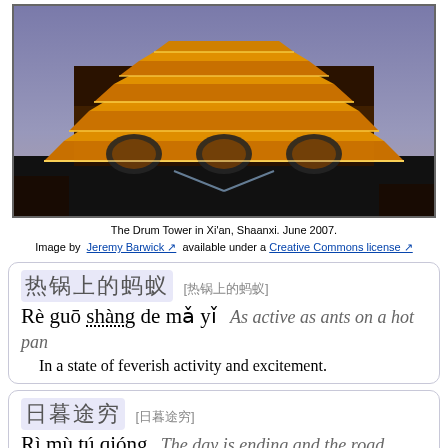[Figure (photo): Night photo of the illuminated Drum Tower in Xi'an, Shaanxi, China. The multi-tiered traditional Chinese wooden tower is lit in golden/orange light against a purple dusk sky.]
The Drum Tower in Xi'an, Shaanxi. June 2007.
Image by Jeremy Barwick ↗ available under a Creative Commons license ↗
热锅上的蚂蚁 [热锅上的蚂蚁] Rè guō shàng de mǎ yǐ  As active as ants on a hot pan  In a state of feverish activity and excitement.
日暮途穷 [日暮途穷] Rì mù tú qióng  The day is ending and the road narrows  The end game is upon us.